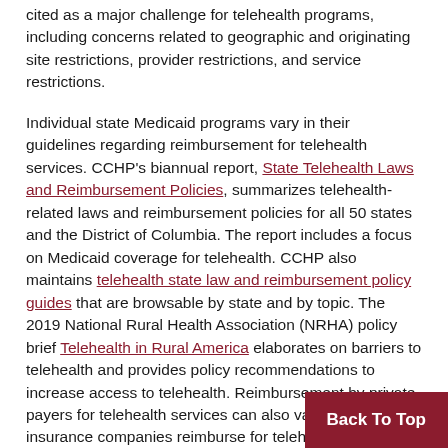cited as a major challenge for telehealth programs, including concerns related to geographic and originating site restrictions, provider restrictions, and service restrictions.
Individual state Medicaid programs vary in their guidelines regarding reimbursement for telehealth services. CCHP's biannual report, State Telehealth Laws and Reimbursement Policies, summarizes telehealth-related laws and reimbursement policies for all 50 states and the District of Columbia. The report includes a focus on Medicaid coverage for telehealth. CCHP also maintains telehealth state law and reimbursement policy guides that are browsable by state and by topic. The 2019 National Rural Health Association (NRHA) policy brief Telehealth in Rural America elaborates on barriers to telehealth and provides policy recommendations to increase access to telehealth. Reimbursement by private payers for telehealth services can also vary. Some he insurance companies reimburse for telehe...